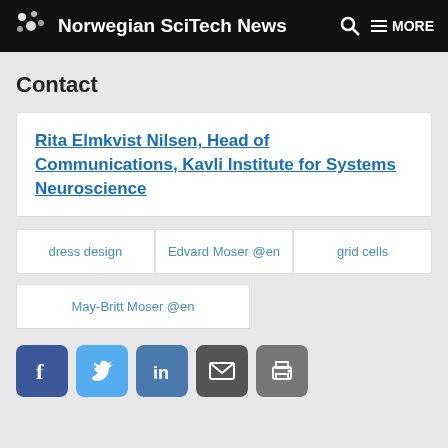Norwegian SciTech News
Contact
Rita Elmkvist Nilsen, Head of Communications, Kavli Institute for Systems Neuroscience
dress design
Edvard Moser @en
grid cells
May-Britt Moser @en
[Figure (infographic): Social sharing icons: Facebook, Twitter, LinkedIn, Email, Print]